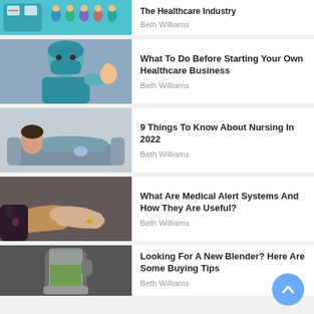[Figure (photo): Healthcare industry illustration with medical staff and digital interface]
The Healthcare Industry
Beth Williams
[Figure (photo): Surgeon in teal scrubs and mask giving thumbs up]
What To Do Before Starting Your Own Healthcare Business
Beth Williams
[Figure (photo): Exhausted nurse resting on couch in scrubs]
9 Things To Know About Nursing In 2022
Beth Williams
[Figure (photo): Caregiver holding elderly patient's hands]
What Are Medical Alert Systems And How They Are Useful?
Beth Williams
[Figure (photo): Blender with green smoothie on dark background]
Looking For A New Blender? Here Are Some Buying Tips
Beth Williams